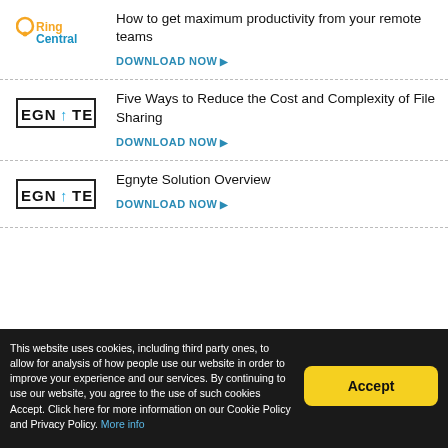[Figure (logo): RingCentral logo with orange 'Ring' and blue 'Central' text]
How to get maximum productivity from your remote teams
DOWNLOAD NOW
[Figure (logo): Egnyte logo with dark border box and blue arrow icon]
Five Ways to Reduce the Cost and Complexity of File Sharing
DOWNLOAD NOW
[Figure (logo): Egnyte logo with dark border box and blue arrow icon]
Egnyte Solution Overview
DOWNLOAD NOW
This website uses cookies, including third party ones, to allow for analysis of how people use our website in order to improve your experience and our services. By continuing to use our website, you agree to the use of such cookies Accept. Click here for more information on our Cookie Policy and Privacy Policy. More info